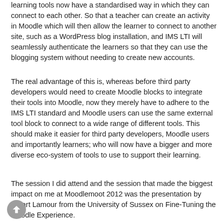learning tools now have a standardised way in which they can connect to each other. So that a teacher can create an activity in Moodle which will then allow the learner to connect to another site, such as a WordPress blog installation, and IMS LTI will seamlessly authenticate the learners so that they can use the blogging system without needing to create new accounts.
The real advantage of this is, whereas before third party developers would need to create Moodle blocks to integrate their tools into Moodle, now they merely have to adhere to the IMS LTI standard and Moodle users can use the same external tool block to connect to a wide range of different tools. This should make it easier for third party developers, Moodle users and importantly learners; who will now have a bigger and more diverse eco-system of tools to use to support their learning.
The session I did attend and the session that made the biggest impact on me at Moodlemoot 2012 was the presentation by Stuart Lamour from the University of Sussex on Fine-Tuning the Moodle Experience.